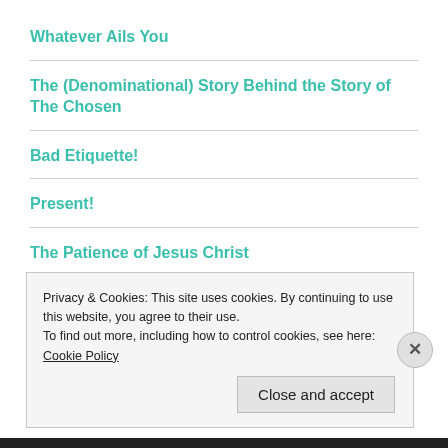Whatever Ails You
The (Denominational) Story Behind the Story of The Chosen
Bad Etiquette!
Present!
The Patience of Jesus Christ
Privacy & Cookies: This site uses cookies. By continuing to use this website, you agree to their use.
To find out more, including how to control cookies, see here: Cookie Policy
Close and accept